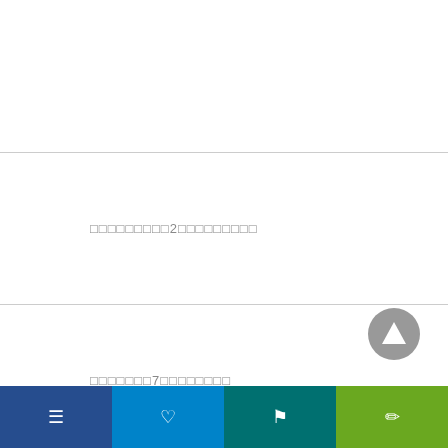□□□□□□□□□2□□□□□□□□□
□□□□□□□7□□□□□□□□
[Figure (other): Back to top button - circular gray button with upward triangle arrow]
[Figure (other): Bottom navigation bar with four colored sections containing icon buttons: dark blue, light blue, teal, green]